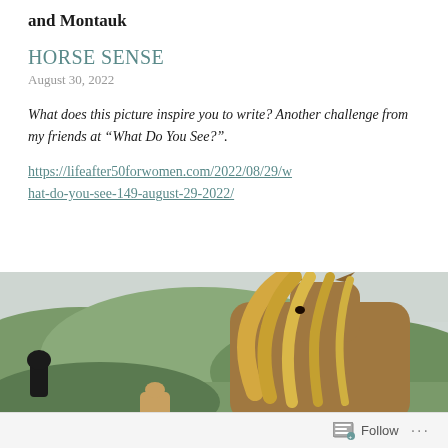and Montauk
HORSE SENSE
August 30, 2022
What does this picture inspire you to write? Another challenge from my friends at “What Do You See?”.
https://lifeafter50forwomen.com/2022/08/29/what-do-you-see-149-august-29-2022/
[Figure (photo): A horse with a flowing blond mane seen from behind, facing green rolling hills under a cloudy sky. Other horses including a black one are visible in the background.]
Follow ...